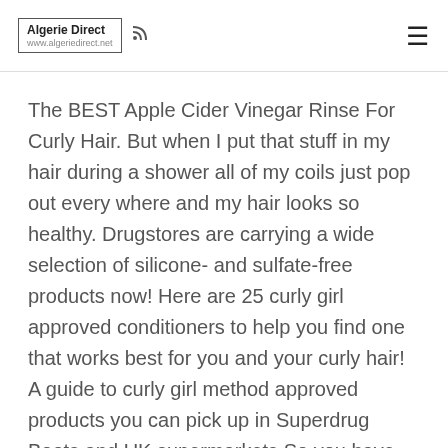Algerie Direct
The BEST Apple Cider Vinegar Rinse For Curly Hair. But when I put that stuff in my hair during a shower all of my coils just pop out every where and my hair looks so healthy. Drugstores are carrying a wide selection of silicone- and sulfate-free products now! Here are 25 curly girl approved conditioners to help you find one that works best for you and your curly hair! A guide to curly girl method approved products you can pick up in Superdrug Boots and UK supermarkets So you have decided to embrace your curls and you pop in to your local supermarket or drugstore to look for curly girl method UK products and are confronted by 101 different hair products! So much so that I even started making my own soap, moisturizer and cosmetics. While the ingredient